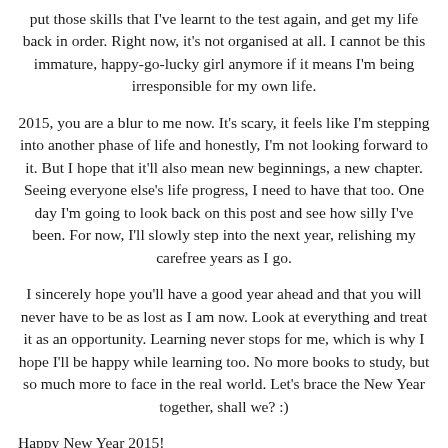put those skills that I've learnt to the test again, and get my life back in order. Right now, it's not organised at all. I cannot be this immature, happy-go-lucky girl anymore if it means I'm being irresponsible for my own life.
2015, you are a blur to me now. It's scary, it feels like I'm stepping into another phase of life and honestly, I'm not looking forward to it. But I hope that it'll also mean new beginnings, a new chapter. Seeing everyone else's life progress, I need to have that too. One day I'm going to look back on this post and see how silly I've been. For now, I'll slowly step into the next year, relishing my carefree years as I go.
I sincerely hope you'll have a good year ahead and that you will never have to be as lost as I am now. Look at everything and treat it as an opportunity. Learning never stops for me, which is why I hope I'll be happy while learning too. No more books to study, but so much more to face in the real world. Let's brace the New Year together, shall we? :)
Happy New Year 2015!